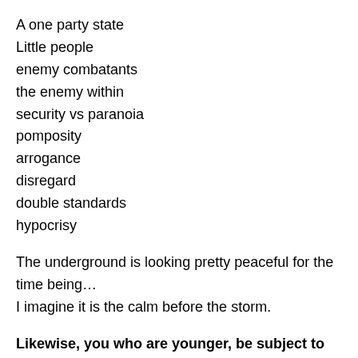A one party state
Little people
enemy combatants
the enemy within
security vs paranoia
pomposity
arrogance
disregard
double standards
hypocrisy
The underground is looking pretty peaceful for the time being…
I imagine it is the calm before the storm.
Likewise, you who are younger, be subject to the